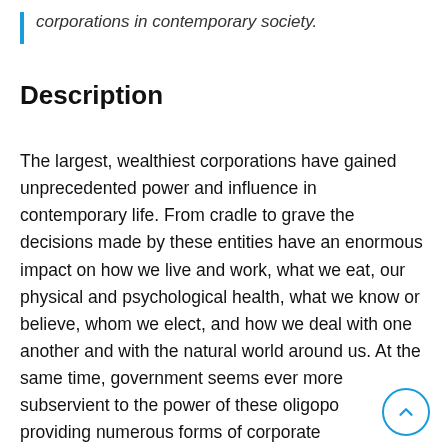corporations in contemporary society.
Description
The largest, wealthiest corporations have gained unprecedented power and influence in contemporary life. From cradle to grave the decisions made by these entities have an enormous impact on how we live and work, what we eat, our physical and psychological health, what we know or believe, whom we elect, and how we deal with one another and with the natural world around us. At the same time, government seems ever more subservient to the power of these oligopo providing numerous forms of corporate